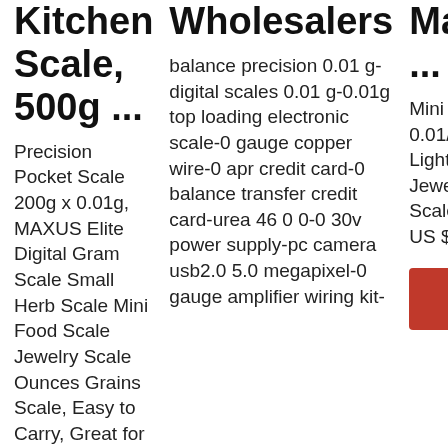Kitchen Scale, 500g ...
Precision Pocket Scale 200g x 0.01g, MAXUS Elite Digital Gram Scale Small Herb Scale Mini Food Scale Jewelry Scale Ounces Grains Scale, Easy to Carry, Great for Travel,Backlit LCD, Stainless Steel Fuzion Digital Kitchen Scale 3000g 0.1g, Pocket
Wholesalers
balance precision 0.01 g-digital scales 0.01 g-0.01g top loading electronic scale-0 gauge copper wire-0 apr credit card-0 balance transfer credit card-urea 46 0 0-0 30v power supply-pc camera usb2.0 5.0 megapixel-0 gauge amplifier wiring kit-
Manufacturers ...
Mini Digital 100/200/300/500g 0.01/0.1g High Accuracy Back Light Electric Pocket Scale for Jewelry Gram Weight Kitchen Scale (BRS-PS03) FOB Price: US $ ...
Get Price